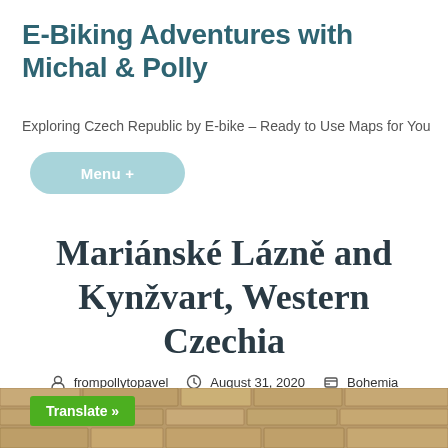E-Biking Adventures with Michal & Polly
Exploring Czech Republic by E-bike – Ready to Use Maps for You
Menu +
Mariánské Lázně and Kynžvart, Western Czechia
frompollytopavel    August 31, 2020    Bohemia
[Figure (photo): Stone wall photo strip at the bottom of the page with a green Translate button overlay]